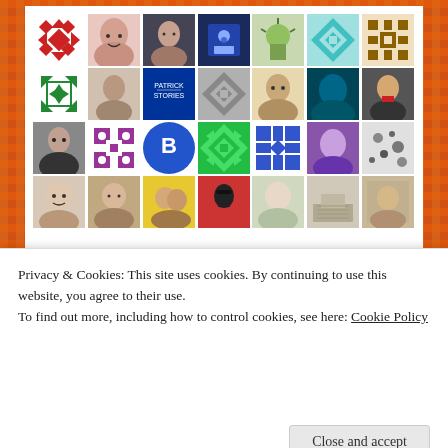[Figure (illustration): Grid of user avatars/profile pictures — 4 rows of 7 avatars each showing various geometric patterns, profile photos, and icons including a 'Patrick Stories' blue circle logo and a 'B' blue circle logo]
Privacy & Cookies: This site uses cookies. By continuing to use this website, you agree to their use.
To find out more, including how to control cookies, see here: Cookie Policy